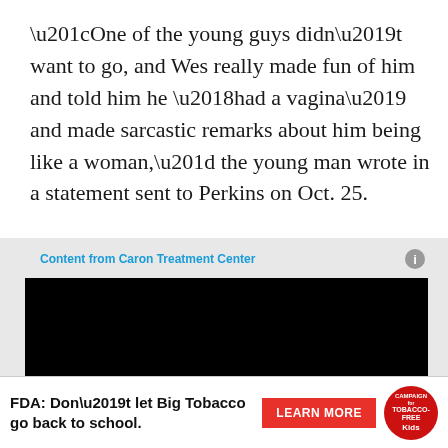“One of the young guys didn’t want to go, and Wes really made fun of him and told him he ‘had a vagina’ and made sarcastic remarks about him being like a woman,” the young man wrote in a statement sent to Perkins on Oct. 25.
Content from Caron Treatment Center
[Figure (other): Black video player block (embedded video content from Caron Treatment Center)]
[Figure (other): FDA advertisement banner: 'FDA: Don’t let Big Tobacco go back to school.' with a red LEARN MORE button and a Campaign for Tobacco-Free Kids circular badge]